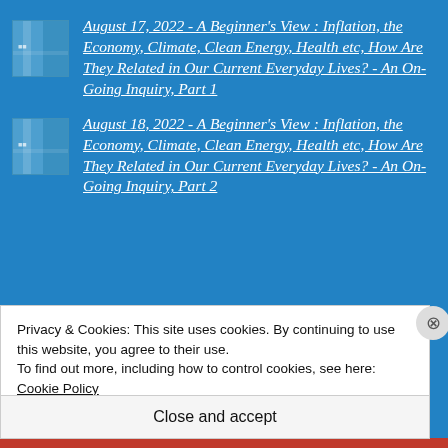August 17, 2022 - A Beginner's View : Inflation, the Economy, Climate, Clean Energy, Health etc, How Are They Related in Our Current Everyday Lives? - An On-Going Inquiry, Part 1
August 18, 2022 - A Beginner's View : Inflation, the Economy, Climate, Clean Energy, Health etc, How Are They Related in Our Current Everyday Lives? - An On-Going Inquiry, Part 2
Privacy & Cookies: This site uses cookies. By continuing to use this website, you agree to their use.
To find out more, including how to control cookies, see here: Cookie Policy
Close and accept